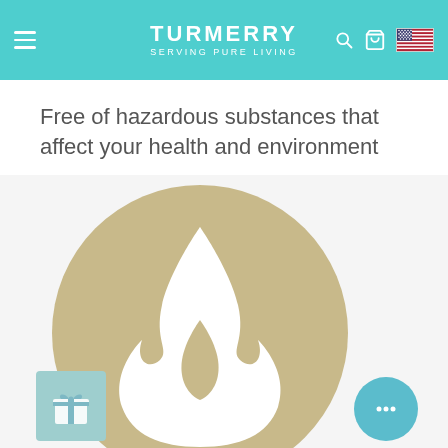TURMERRY SERVING PURE LIVING
Free of hazardous substances that affect your health and environment
[Figure (illustration): A large circular tan/gold icon containing a white flame symbol, representing fire/hazardous substance free certification. Bottom-left has a light teal gift box icon widget. Bottom-right has a teal circular chat bubble icon.]